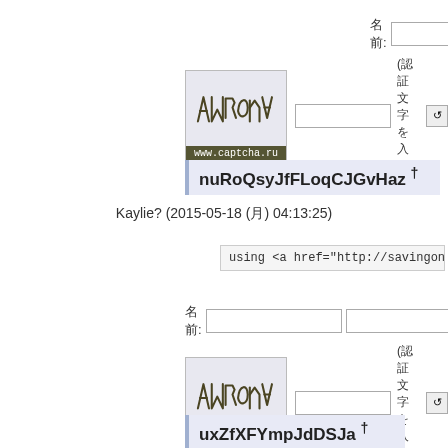[Figure (other): Web form with CAPTCHA image from www.captcha.ru, text input fields, and a name label in Japanese/CJK characters]
nuRoQsyJfFLoqCJGvHaz †
Kaylie? (2015-05-18 (月) 04:13:25)
using <a href="http://savingoninsuronl
[Figure (other): Second web form with CAPTCHA image from www.captcha.ru, text input fields, and a name label in Japanese/CJK characters]
uxZfXFYmpJdDSJa †